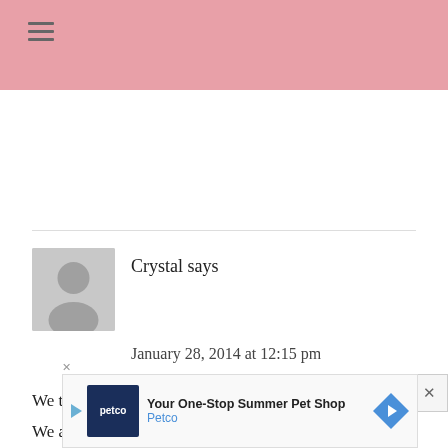≡
Crystal says
January 28, 2014 at 12:15 pm
We try to avoid busy shopping days and heavy crowds. We also try to stay away from sick people as much as
[Figure (screenshot): Petco advertisement banner: 'Your One-Stop Summer Pet Shop - Petco']